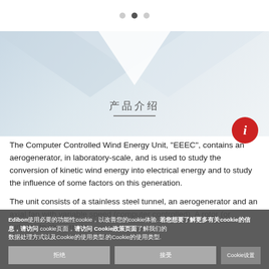[Figure (illustration): Carousel pagination dots (3 dots, second selected) above a light blue geometric background with a white downward chevron/arrow shape]
产品介绍
The Computer Controlled Wind Energy Unit, "EEEC", contains an aerogenerator, in laboratory-scale, and is used to study the conversion of kinetic wind energy into electrical energy and to study the influence of some factors on this generation.
The unit consists of a stainless steel tunnel, an aerogenerator and an axial fan with variable speed (computer controlled). A rotor (or turbine) to close up to
Edibon使用必要的功能性cookie，以改善您的cookie体验. 若您想要了解更多有关cookie的信息，请访问 Cookie政策页面了解我们的数据处理方式以及Cookie的使用类型.